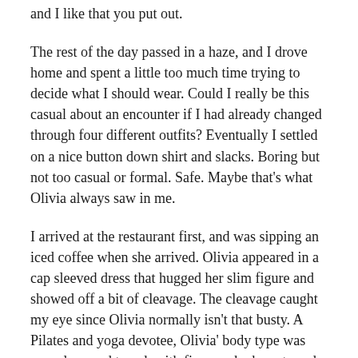and I like that you put out.
The rest of the day passed in a haze, and I drove home and spent a little too much time trying to decide what I should wear. Could I really be this casual about an encounter if I had already changed through four different outfits? Eventually I settled on a nice button down shirt and slacks. Boring but not too casual or formal. Safe. Maybe that’s what Olivia always saw in me.
I arrived at the restaurant first, and was sipping an iced coffee when she arrived. Olivia appeared in a cap sleeved dress that hugged her slim figure and showed off a bit of cleavage. The cleavage caught my eye since Olivia normally isn’t that busty. A Pilates and yoga devotee, Olivia’ body type was more lean and toned, with firm, perky breasts and a narrow, supple waist that flared out into a nice pair of hourglass hips. Her long hair was pulled back and bundled up into a small knot secured with a pair of chopsticks and her eyes sparkled as she saw me. God, she was gorgeous.